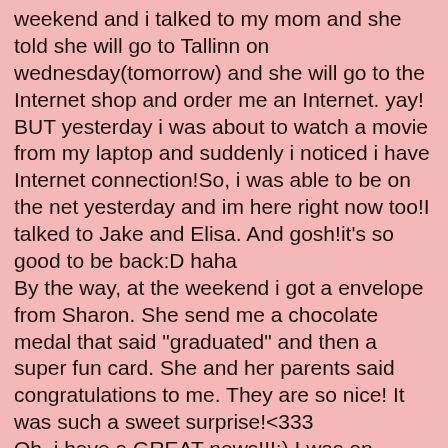weekend and i talked to my mom and she told she will go to Tallinn on wednesday(tomorrow) and she will go to the Internet shop and order me an Internet. yay! BUT yesterday i was about to watch a movie from my laptop and suddenly i noticed i have Internet connection!So, i was able to be on the net yesterday and im here right now too!I talked to Jake and Elisa. And gosh!it's so good to be back:D haha
By the way, at the weekend i got a envelope from Sharon. She send me a chocolate medal that said "graduated" and then a super fun card. She and her parents said congratulations to me. They are so nice! It was such a sweet surprise!<333
Oh, i have a GREAT news!!!:) I was on myspace yesterday and i saw Demi was online and i talked to her on myspace IM. She always makes me so happy!:) I will write our short convo(but it still made me happy!!).
7/6/2009
6:43 PM
Sandra:
hey Demi:-) whats up??
how are you?